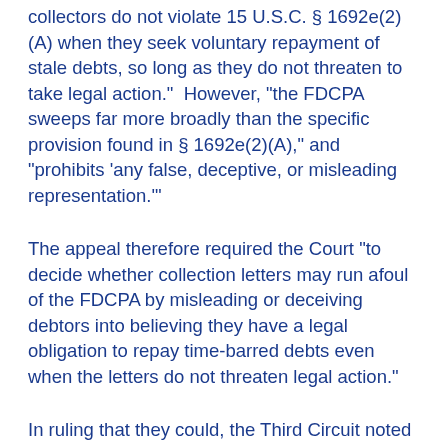collectors do not violate 15 U.S.C. § 1692e(2)(A) when they seek voluntary repayment of stale debts, so long as they do not threaten to take legal action."  However, "the FDCPA sweeps far more broadly than the specific provision found in § 1692e(2)(A)," and "prohibits 'any false, deceptive, or misleading representation.'"
The appeal therefore required the Court "to decide whether collection letters may run afoul of the FDCPA by misleading or deceiving debtors into believing they have a legal obligation to repay time-barred debts even when the letters do not threaten legal action."
In ruling that they could, the Third Circuit noted that "three other United States Courts of Appeals have addressed the question presented in this appeal," and "[a]ll three have determined that, even absent threats of litigation, it is plausible that offers to 'settle' time-barred debts could mislead the least sophisticated debtor." See McMahon v.